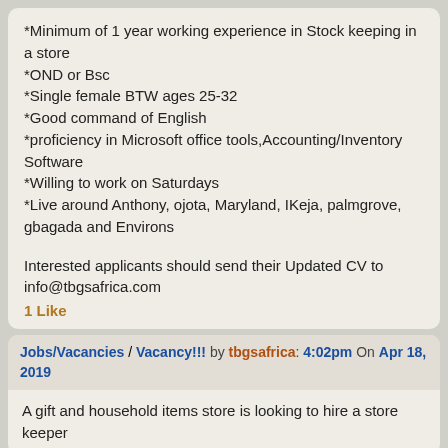*Minimum of 1 year working experience in Stock keeping in a store
*OND or Bsc
*Single female BTW ages 25-32
*Good command of English
*proficiency in Microsoft office tools,Accounting/Inventory Software
*Willing to work on Saturdays
*Live around Anthony, ojota, Maryland, IKeja, palmgrove, gbagada and Environs
Interested applicants should send their Updated CV to info@tbgsafrica.com
1 Like
Jobs/Vacancies / Vacancy!!! by tbgsafrica: 4:02pm On Apr 18, 2019
A gift and household items store is looking to hire a store keeper